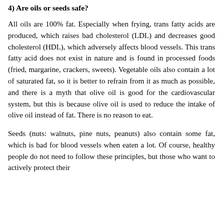4) Are oils or seeds safe?
All oils are 100% fat. Especially when frying, trans fatty acids are produced, which raises bad cholesterol (LDL) and decreases good cholesterol (HDL), which adversely affects blood vessels. This trans fatty acid does not exist in nature and is found in processed foods (fried, margarine, crackers, sweets). Vegetable oils also contain a lot of saturated fat, so it is better to refrain from it as much as possible, and there is a myth that olive oil is good for the cardiovascular system, but this is because olive oil is used to reduce the intake of olive oil instead of fat. There is no reason to eat.
Seeds (nuts: walnuts, pine nuts, peanuts) also contain some fat, which is bad for blood vessels when eaten a lot. Of course, healthy people do not need to follow these principles, but those who want to actively protect their